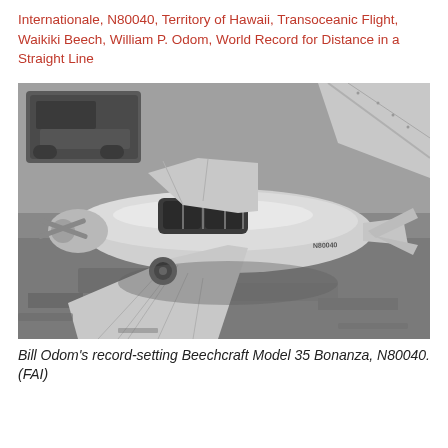Internationale, N80040, Territory of Hawaii, Transoceanic Flight, Waikiki Beech, William P. Odom, World Record for Distance in a Straight Line
[Figure (photo): Black and white aerial/overhead photograph of Bill Odom's record-setting Beechcraft Model 35 Bonanza, registration N80040, parked on the ground. A military vehicle is visible in the upper left. Another aircraft's wing is visible in the upper right.]
Bill Odom's record-setting Beechcraft Model 35 Bonanza, N80040. (FAI)